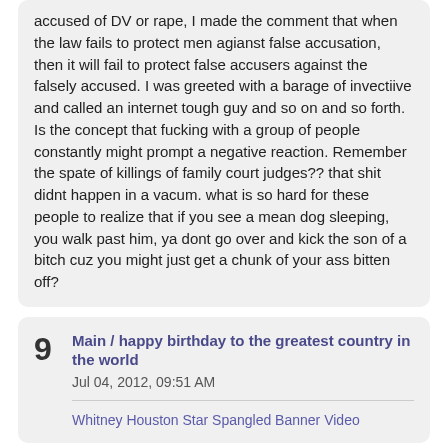accused of DV or rape, I made the comment that when the law fails to protect men agianst false accusation, then it will fail to protect false accusers against the falsely accused. I was greeted with a barage of invectiive and called an internet tough guy and so on and so forth. Is the concept that fucking with a group of people constantly might prompt a negative reaction. Remember the spate of killings of family court judges?? that shit didnt happen in a vacum. what is so hard for these people to realize that if you see a mean dog sleeping, you walk past him, ya dont go over and kick the son of a bitch cuz you might just get a chunk of your ass bitten off?
9   Main / happy birthday to the greatest country in the world
Jul 04, 2012, 09:51 AM
Whitney Houston Star Spangled Banner Video
10  Main / great youtube channel---this guy is a III percenter as well as MRA
Jul 03, 2012, 04:31 PM